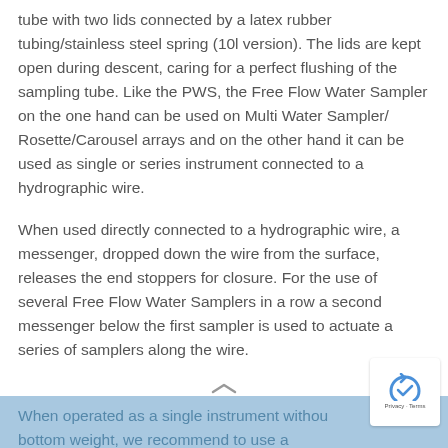tube with two lids connected by a latex rubber tubing/stainless steel spring (10l version). The lids are kept open during descent, caring for a perfect flushing of the sampling tube. Like the PWS, the Free Flow Water Sampler on the one hand can be used on Multi Water Sampler/Rosette/Carousel arrays and on the other hand it can be used as single or series instrument connected to a hydrographic wire.
When used directly connected to a hydrographic wire, a messenger, dropped down the wire from the surface, releases the end stoppers for closure. For the use of several Free Flow Water Samplers in a row a second messenger below the first sampler is used to actuate a series of samplers along the wire.
When operated as a single instrument without bottom weight, we recommend to use a